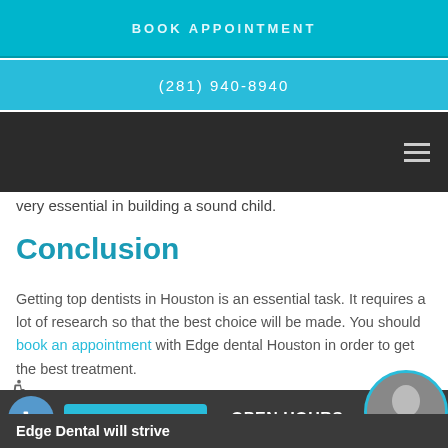BOOK APPOINTMENT
(281) 940-8940
very essential in building a sound child.
Conclusion
Getting top dentists in Houston is an essential task. It requires a lot of research so that the best choice will be made. You should book an appointment with Edge dental Houston in order to get the best treatment.
Call (281) 940-8940   OPEN HOURS
Edge Dental will strive